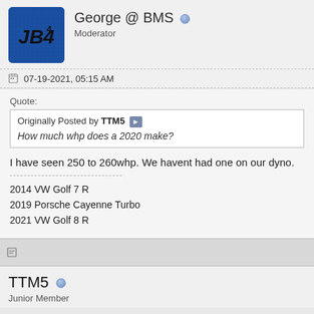[Figure (logo): JB4 logo avatar - blue background with JB4 text in black/dark style]
George @ BMS
Moderator
07-19-2021, 05:15 AM
Quote:
Originally Posted by TTM5
How much whp does a 2020 make?
I have seen 250 to 260whp. We havent had one on our dyno.
2014 VW Golf 7 R
2019 Porsche Cayenne Turbo
2021 VW Golf 8 R
TTM5
Junior Member